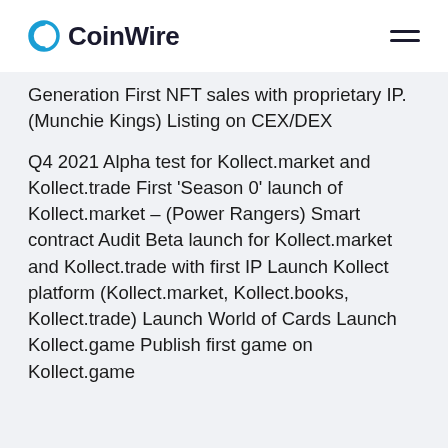CoinWire
Generation First NFT sales with proprietary IP. (Munchie Kings) Listing on CEX/DEX
Q4 2021 Alpha test for Kollect.market and Kollect.trade First 'Season 0' launch of Kollect.market – (Power Rangers) Smart contract Audit Beta launch for Kollect.market and Kollect.trade with first IP Launch Kollect platform (Kollect.market, Kollect.books, Kollect.trade) Launch World of Cards Launch Kollect.game Publish first game on Kollect.game